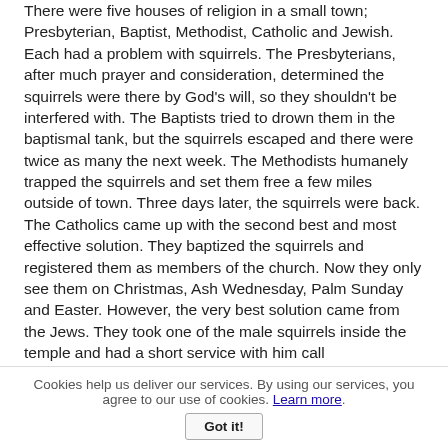There were five houses of religion in a small town; Presbyterian, Baptist, Methodist, Catholic and Jewish. Each had a problem with squirrels. The Presbyterians, after much prayer and consideration, determined the squirrels were there by God's will, so they shouldn't be interfered with. The Baptists tried to drown them in the baptismal tank, but the squirrels escaped and there were twice as many the next week. The Methodists humanely trapped the squirrels and set them free a few miles outside of town. Three days later, the squirrels were back. The Catholics came up with the second best and most effective solution. They baptized the squirrels and registered them as members of the church. Now they only see them on Christmas, Ash Wednesday, Palm Sunday and Easter. However, the very best solution came from the Jews. They took one of the male squirrels inside the temple and had a short service with him call "circumcision." They've never seen a squirrel around since.
Cookies help us deliver our services. By using our services, you agree to our use of cookies. Learn more.
Got it!